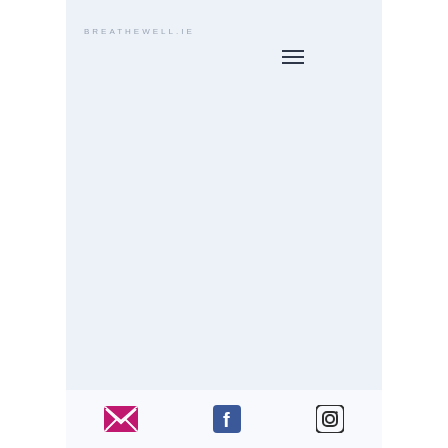BREATHEWELL.IE
[Figure (other): Hamburger menu icon (three horizontal lines)]
Email icon, Facebook icon, Instagram icon